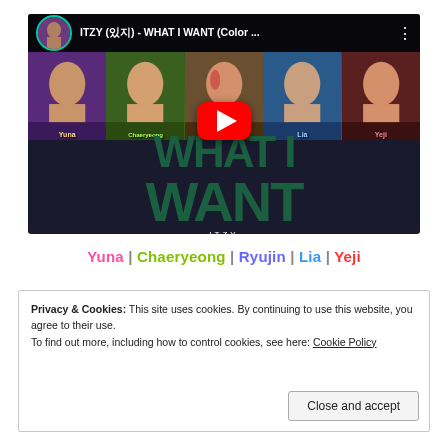[Figure (screenshot): YouTube video thumbnail for ITZY (있지) - WHAT I WANT (Color Coded Lyrics Han/Rom/Eng), showing five K-pop group members with a large play button overlay and song title text]
Yuna | Chaeryeong | Ryujin | Lia | Yeji
Privacy & Cookies: This site uses cookies. By continuing to use this website, you agree to their use.
To find out more, including how to control cookies, see here: Cookie Policy
Close and accept